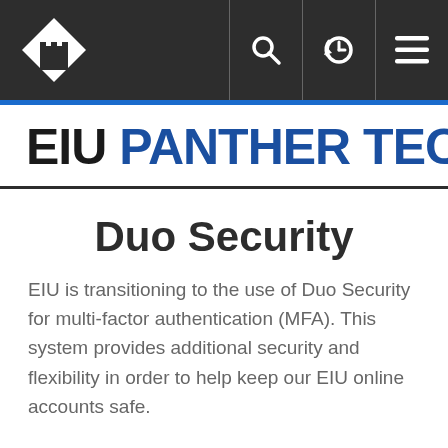EIU PANTHER TECH – navigation bar with logo, search, history, and menu icons
EIU PANTHER TECH
Duo Security
EIU is transitioning to the use of Duo Security for multi-factor authentication (MFA). This system provides additional security and flexibility in order to help keep our EIU online accounts safe.